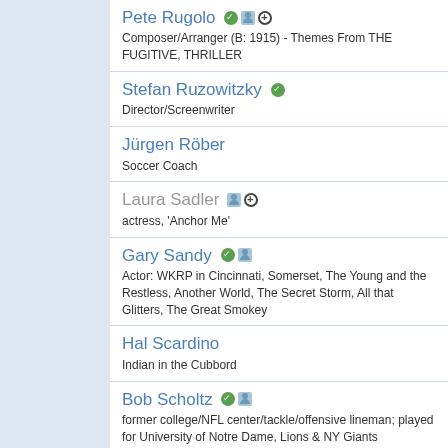Pete Rugolo
Composer/Arranger (B: 1915) - Themes From THE FUGITIVE, THRILLER
Stefan Ruzowitzky
Director/Screenwriter
Jürgen Röber
Soccer Coach
Laura Sadler
actress, 'Anchor Me'
Gary Sandy
Actor: WKRP in Cincinnati, Somerset, The Young and the Restless, Another World, The Secret Storm, All that Glitters, The Great Smokey
Hal Scardino
Indian in the Cubbord
Bob Scholtz
former college/NFL center/tackle/offensive lineman; played for University of Notre Dame, Lions & NY Giants
Tony Schumacher
NHRA Top Fuel Dragster Driver